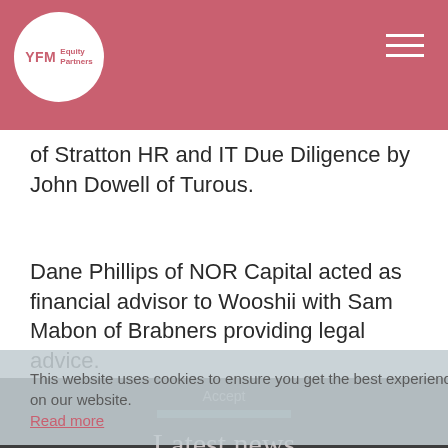YFM Equity Partners
of Stratton HR and IT Due Diligence by John Dowell of Turous.
Dane Phillips of NOR Capital acted as financial advisor to Wooshii with Sam Mabon of Brabners providing legal advice.
This website uses cookies to ensure you get the best experience on our website. Read more
Accept | Back to top
Latest news